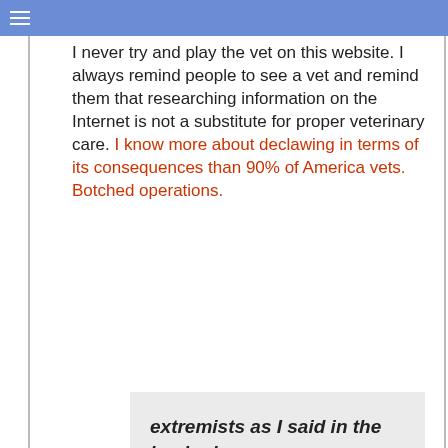Navigation menu bar (hamburger icon on blue bar)
I never try and play the vet on this website. I always remind people to see a vet and remind them that researching information on the Internet is not a substitute for proper veterinary care. I know more about declawing in terms of its consequences than 90% of America vets. Botched operations.
extremists as I said in the beginning
Every person who is against declawing is not an extremist. They are simply expressing an alternative view
[Figure (screenshot): Advertisement: Time For a Trim? Hair Cuttery with HC logo and navigation arrow icon]